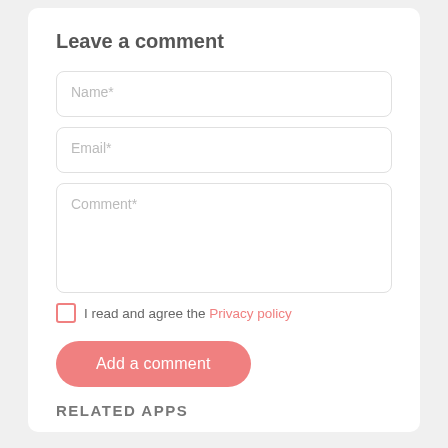Leave a comment
Name*
Email*
Comment*
I read and agree the Privacy policy
Add a comment
RELATED APPS